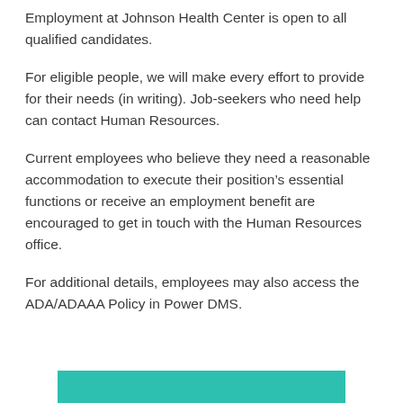Employment at Johnson Health Center is open to all qualified candidates.
For eligible people, we will make every effort to provide for their needs (in writing). Job-seekers who need help can contact Human Resources.
Current employees who believe they need a reasonable accommodation to execute their position’s essential functions or receive an employment benefit are encouraged to get in touch with the Human Resources office.
For additional details, employees may also access the ADA/ADAAA Policy in Power DMS.
[Figure (other): Green/teal button bar at the bottom of the page, partially visible, with bold text]